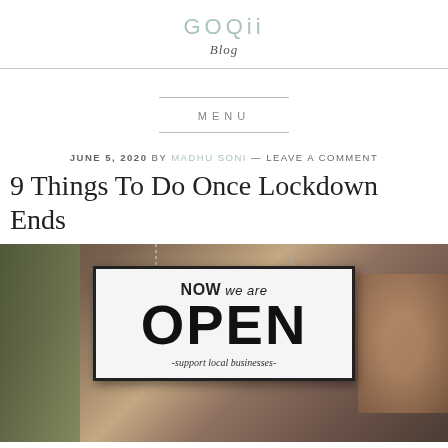GOQii Blog
MENU
JUNE 5, 2020 BY MADHU SONI — LEAVE A COMMENT
9 Things To Do Once Lockdown Ends
[Figure (photo): A close-up photo of a shop door sign reading 'NOW we are OPEN - support local businesses -' hanging on a chain, with a blurred background showing green foliage on the left and warm bokeh light on the right.]